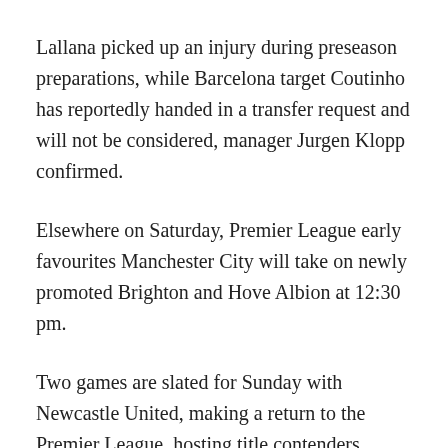Lallana picked up an injury during preseason preparations, while Barcelona target Coutinho has reportedly handed in a transfer request and will not be considered, manager Jurgen Klopp confirmed.
Elsewhere on Saturday, Premier League early favourites Manchester City will take on newly promoted Brighton and Hove Albion at 12:30 pm.
Two games are slated for Sunday with Newcastle United, making a return to the Premier League, hosting title contenders Tottenham Hotspur, starting at 7:30 am.